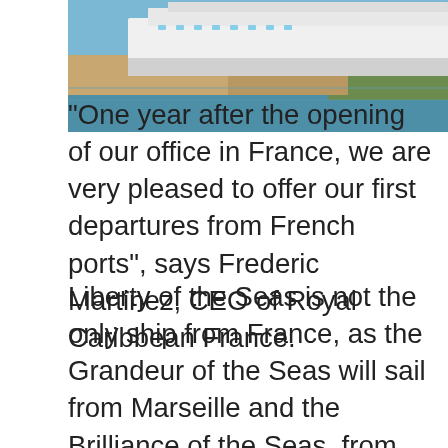[Figure (photo): A large cruise ship docked at a port with trees and buildings visible in the background, viewed from an elevated perspective over water.]
"One year after the opening of our office in France, we are very pleased to offer our first departures from French ports", says Frederic Martinez, CEO of Royal Caribbean France.
Liberty of the Seas is not the only ship from France, as the Grandeur of the Seas will sail from Marseille and the Brilliance of the Seas, from Havre. "We worked hard to adapt our offer to French customers, says Frederic Martinez. A